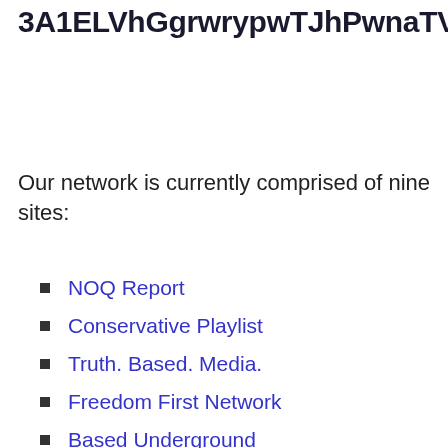3A1ELVhGgrwrypwTJhPwnaTVGmuqyQrMB8
Our network is currently comprised of nine sites:
NOQ Report
Conservative Playlist
Truth. Based. Media.
Freedom First Network
Based Underground